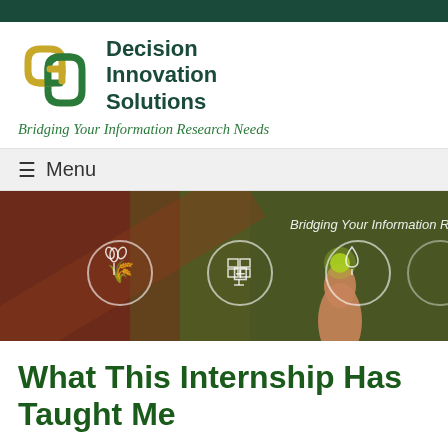[Figure (logo): Decision Innovation Solutions company logo with interlocking knot symbol in green and gold]
Decision Innovation Solutions
Bridging Your Information Research Needs
≡ Menu
[Figure (photo): Banner image showing a hand pointing at glowing circular icons on a dark background with text 'Bridging Your Information Research Needs']
What This Internship Has Taught Me